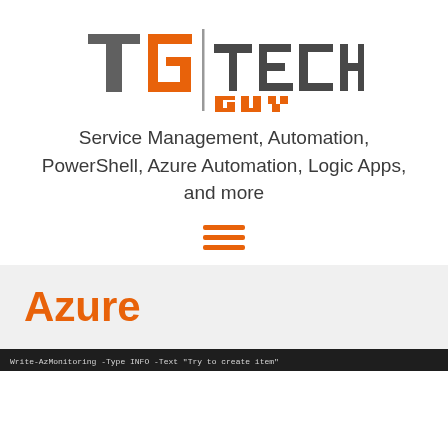[Figure (logo): TG TechGuy logo with orange and gray lettering, vertical bar separator between TG icon and TECHGUY text]
Service Management, Automation, PowerShell, Azure Automation, Logic Apps, and more
[Figure (other): Hamburger menu icon (three horizontal orange lines)]
Azure
[Figure (screenshot): Dark code editor screenshot showing a line of code: Write-AzMonitoring -Type INFO -Text "Try to create item"]